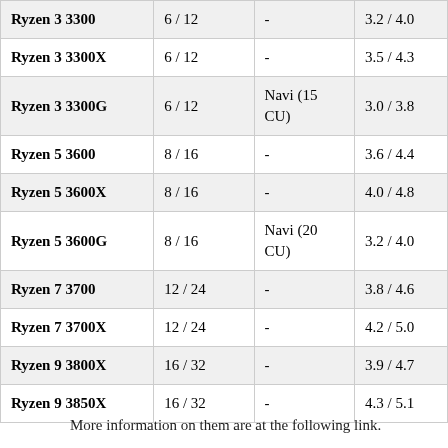| Model | Cores / Threads | iGPU | Clock (GHz) |
| --- | --- | --- | --- |
| Ryzen 3 3300 | 6 / 12 | - | 3.2 / 4.0 |
| Ryzen 3 3300X | 6 / 12 | - | 3.5 / 4.3 |
| Ryzen 3 3300G | 6 / 12 | Navi (15 CU) | 3.0 / 3.8 |
| Ryzen 5 3600 | 8 / 16 | - | 3.6 / 4.4 |
| Ryzen 5 3600X | 8 / 16 | - | 4.0 / 4.8 |
| Ryzen 5 3600G | 8 / 16 | Navi (20 CU) | 3.2 / 4.0 |
| Ryzen 7 3700 | 12 / 24 | - | 3.8 / 4.6 |
| Ryzen 7 3700X | 12 / 24 | - | 4.2 / 5.0 |
| Ryzen 9 3800X | 16 / 32 | - | 3.9 / 4.7 |
| Ryzen 9 3850X | 16 / 32 | - | 4.3 / 5.1 |
More information on them are at the following link.